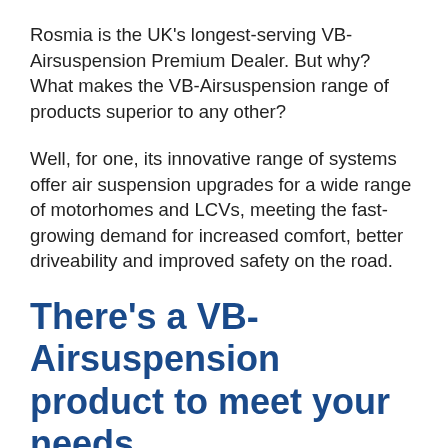Rosmia is the UK's longest-serving VB-Airsuspension Premium Dealer. But why? What makes the VB-Airsuspension range of products superior to any other?
Well, for one, its innovative range of systems offer air suspension upgrades for a wide range of motorhomes and LCVs, meeting the fast-growing demand for increased comfort, better driveability and improved safety on the road.
There's a VB-Airsuspension product to meet your needs
Upgraded air suspension systems are no longer seen as a luxury, offering improved safety and comfort for an extensive range including...